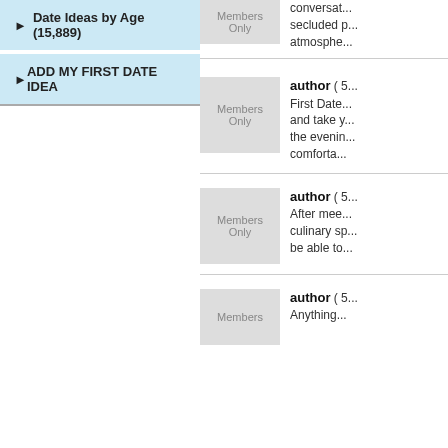Date Ideas by Age (15,889)
ADD MY FIRST DATE IDEA
Members Only — conversat... secluded p... atmosphe...
author ( 5... — First Date... and take y... the evenin... comforta...
author ( 5... — After mee... culinary sp... be able to...
author ( 5... — Anything...